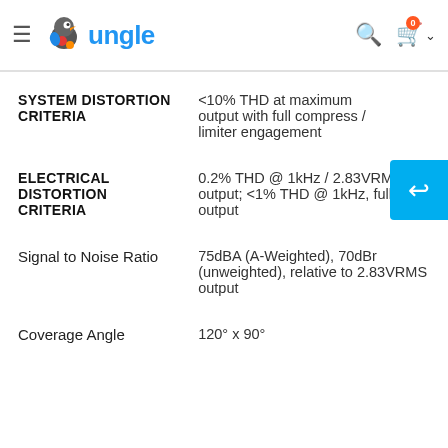Jungle — navigation header with logo, search, and cart
| Specification | Value |
| --- | --- |
| SYSTEM DISTORTION CRITERIA | <10% THD at maximum output with full compress / limiter engagement |
| ELECTRICAL DISTORTION CRITERIA | 0.2% THD @ 1kHz / 2.83VRMS output; <1% THD @ 1kHz, full rated output |
| Signal to Noise Ratio | 75dBA (A-Weighted), 70dBr (unweighted), relative to 2.83VRMS output |
| Coverage Angle | 120° x 90° |